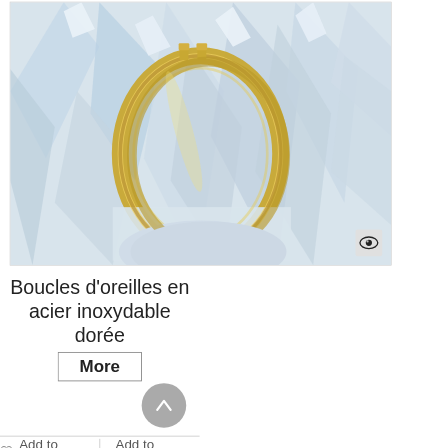[Figure (photo): Gold stainless steel hoop earring displayed on crystal/quartz stones background. Single large oval-shaped gold tubular hoop earring with clasp visible at top, photographed against translucent white crystal rocks.]
Boucles d'oreilles en acier inoxydable dorée
More
Add to Wishlist  +Add to Compare